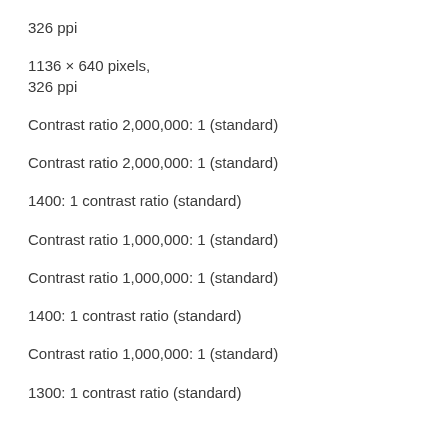326 ppi
1136 × 640 pixels,
326 ppi
Contrast ratio 2,000,000: 1 (standard)
Contrast ratio 2,000,000: 1 (standard)
1400: 1 contrast ratio (standard)
Contrast ratio 1,000,000: 1 (standard)
Contrast ratio 1,000,000: 1 (standard)
1400: 1 contrast ratio (standard)
Contrast ratio 1,000,000: 1 (standard)
1300: 1 contrast ratio (standard)